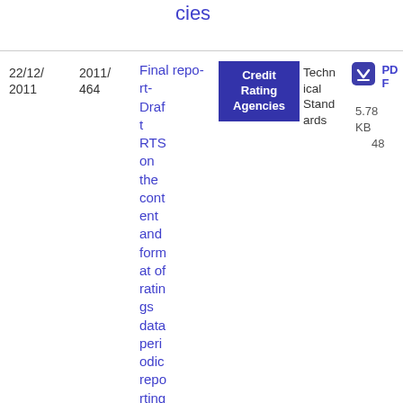cies
| Date | Doc No. | Title | Category | Type | File |
| --- | --- | --- | --- | --- | --- |
| 22/12/2011 | 2011/464 | Final report- Draft RTS on the content and format of ratings data periodic reporting | Credit Rating Agencies | Technical Standards | PDF 5.78 KB 48 |